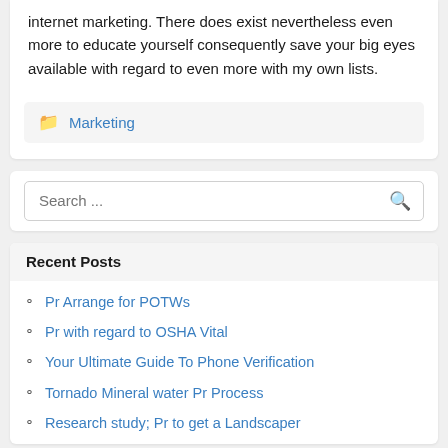internet marketing. There does exist nevertheless even more to educate yourself consequently save your big eyes available with regard to even more with my own lists.
Marketing
Search ...
Recent Posts
Pr Arrange for POTWs
Pr with regard to OSHA Vital
Your Ultimate Guide To Phone Verification
Tornado Mineral water Pr Process
Research study; Pr to get a Landscaper